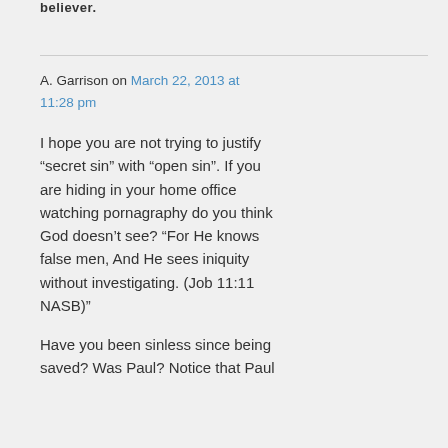believer.
A. Garrison on March 22, 2013 at 11:28 pm
I hope you are not trying to justify “secret sin” with “open sin”. If you are hiding in your home office watching pornagraphy do you think God doesn’t see? “For He knows false men, And He sees iniquity without investigating. (Job 11:11 NASB)”
Have you been sinless since being saved? Was Paul? Notice that Paul